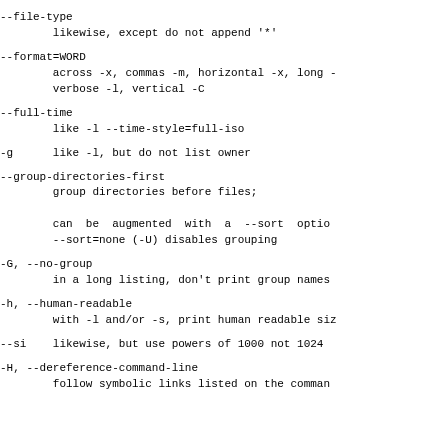--file-type
        likewise, except do not append '*'
--format=WORD
        across -x, commas -m, horizontal -x, long -
        verbose -l, vertical -C
--full-time
        like -l --time-style=full-iso
-g      like -l, but do not list owner
--group-directories-first
        group directories before files;

        can  be  augmented  with  a  --sort  optio
        --sort=none (-U) disables grouping
-G, --no-group
        in a long listing, don't print group names
-h, --human-readable
        with -l and/or -s, print human readable siz
--si    likewise, but use powers of 1000 not 1024
-H, --dereference-command-line
        follow symbolic links listed on the comman